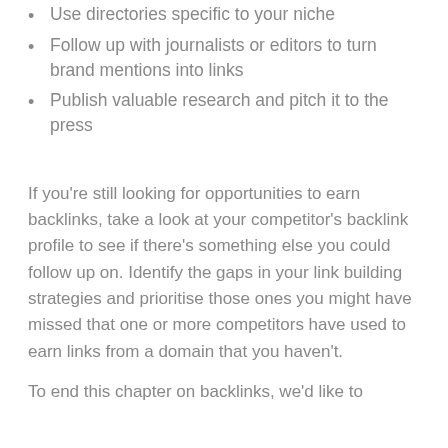Use directories specific to your niche
Follow up with journalists or editors to turn brand mentions into links
Publish valuable research and pitch it to the press
If you're still looking for opportunities to earn backlinks, take a look at your competitor's backlink profile to see if there's something else you could follow up on. Identify the gaps in your link building strategies and prioritise those ones you might have missed that one or more competitors have used to earn links from a domain that you haven't.
To end this chapter on backlinks, we'd like to